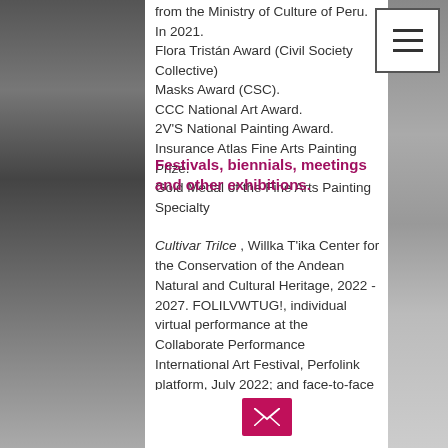[Figure (photo): Black and white photo strip on left side of page showing a person's face and textures]
from the Ministry of Culture of Peru. In 2021. Flora Tristán Award (Civil Society Collective) Masks Award (CSC).
CCC National Art Award.
2V'S National Painting Award.
Insurance Atlas Fine Arts Painting Prize.
Gold Medal of the Fine Arts Painting Specialty
Festivals, biennials, meetings and other exhibitions.
Cultivar Trilce , Willka T'ika Center for the Conservation of the Andean Natural and Cultural Heritage, 2022 - 2027.
FOLILVWTUG!, individual virtual performance at the Collaborate Performance International Art Festival, Perfolink platform, July 2022; and face-to-face collaborative performance with Mauricio Vargas Osses at the same festival, Cerrillos National Center for Contemporary Art, Santiago de Chile., November 2022.
Homage to Trilce, Palace of the Arts, 77 artists and 77 works for the 77 poems of
[Figure (photo): Black and white photo strip on right side showing stone/brick wall textures]